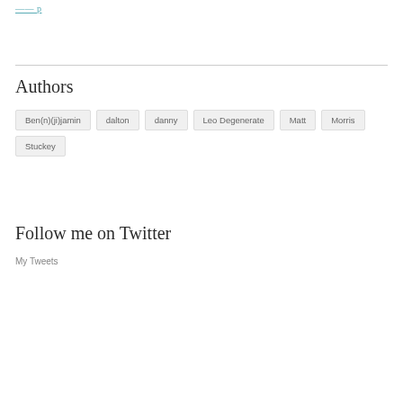logo / header link
Authors
Ben(n)(ji)jamin
dalton
danny
Leo Degenerate
Matt
Morris
Stuckey
Follow me on Twitter
My Tweets